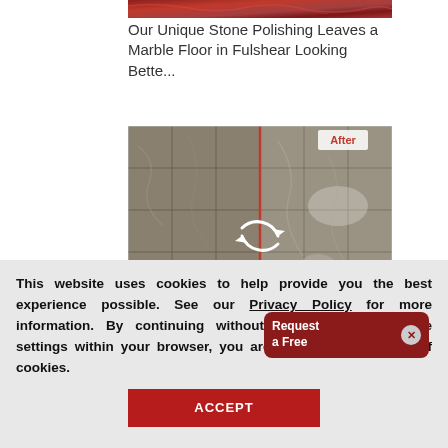[Figure (photo): Top portion of a red/brown marble surface image, cropped]
Our Unique Stone Polishing Leaves a Marble Floor in Fulshear Looking Bette...
[Figure (photo): Before and after comparison photo of marble floor polishing in Fulshear, with a red vertical dividing line, 'Before' label in lower left and 'After' label in upper right, and a circular arrow icon in the middle]
Our Top Stone Polis a Free...
This website uses cookies to help provide you the best experience possible. See our Privacy Policy for more information. By continuing without changing your cookie settings within your browser, you are agreeing to our use of cookies.
ACCEPT